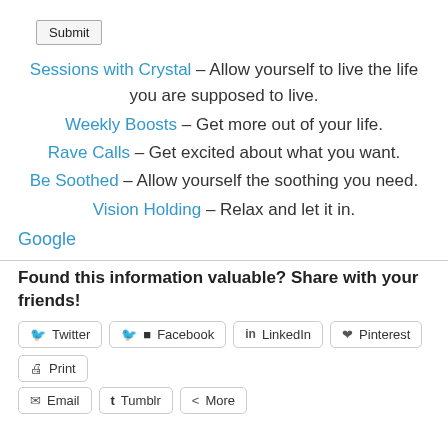Submit
Sessions with Crystal – Allow yourself to live the life you are supposed to live.
Weekly Boosts – Get more out of your life.
Rave Calls – Get excited about what you want.
Be Soothed – Allow yourself the soothing you need.
Vision Holding – Relax and let it in.
Google
Found this information valuable? Share with your friends!
Twitter | Facebook | LinkedIn | Pinterest | Print | Email | Tumblr | More